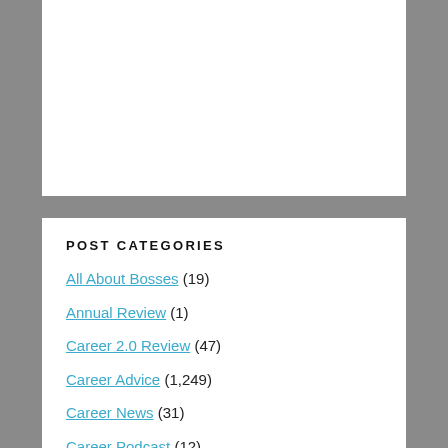POST CATEGORIES
All About Bosses (19)
Annual Review (1)
Career 2.0 Review (47)
Career Advice (1,249)
Career News (31)
Career Podcast (12)